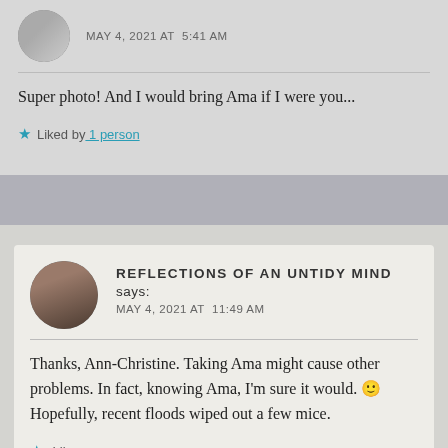[Figure (photo): Circular avatar photo of a person in black and white, top of comment section]
MAY 4, 2021 AT  5:41 AM
Super photo! And I would bring Ama if I were you...
Liked by 1 person
[Figure (photo): Circular avatar photo of a woman wearing dark clothing]
REFLECTIONS OF AN UNTIDY MIND says:
MAY 4, 2021 AT  11:49 AM
Thanks, Ann-Christine. Taking Ama might cause other problems. In fact, knowing Ama, I'm sure it would. 🙂 Hopefully, recent floods wiped out a few mice.
Like